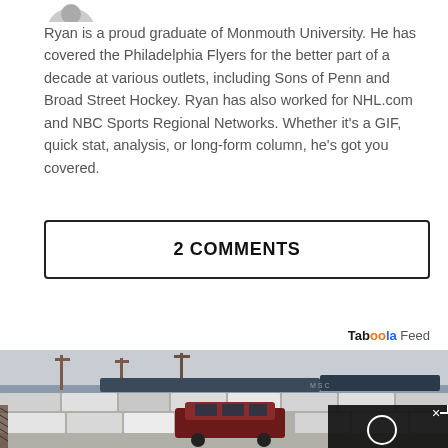[Figure (photo): Partial avatar/logo image at top]
Ryan is a proud graduate of Monmouth University. He has covered the Philadelphia Flyers for the better part of a decade at various outlets, including Sons of Penn and Broad Street Hockey. Ryan has also worked for NHL.com and NBC Sports Regional Networks. Whether it's a GIF, quick stat, analysis, or long-form column, he's got you covered.
2 COMMENTS
Taboola Feed
[Figure (photo): Large outdoor parking lot full of cars including a prominent dark red SUV (Toyota FJ Cruiser), with shipping cranes and cargo ships visible in the background at a port. A video player overlay with an X close button and circular play button is visible in the bottom-right corner.]